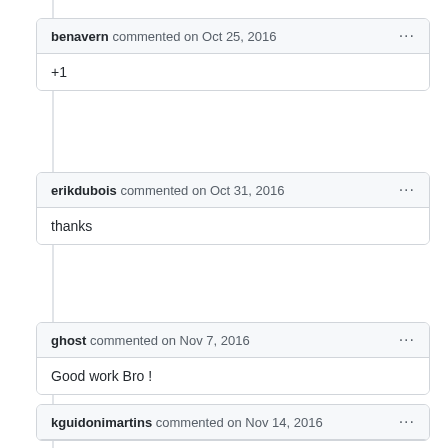benavern commented on Oct 25, 2016
+1
erikdubois commented on Oct 31, 2016
thanks
ghost commented on Nov 7, 2016
Good work Bro !
kguidonimartins commented on Nov 14, 2016